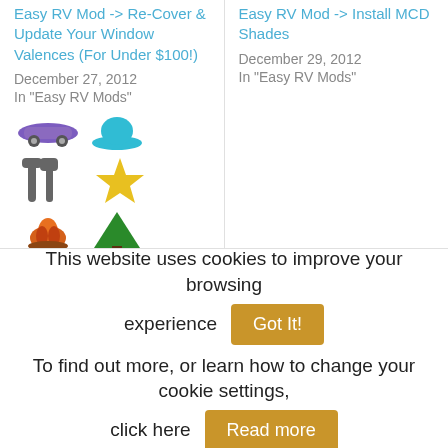Easy RV Mod -> Re-Cover & Update Your Window Valences (For Under $100!)
December 27, 2012
In "Easy RV Mods"
Easy RV Mod -> Install MCD Shades
December 29, 2012
In "Easy RV Mods"
[Figure (illustration): Grid of RV/camping themed icons: car/vehicle icon, hat icon, tools icons, sun/star icon, campfire icon, tree icon]
The Full Wheelingit Database Of US-Based RVing Topics
May 13, 2018
This website uses cookies to improve your browsing experience
Got It!
To find out more, or learn how to change your cookie settings, click here
Read more